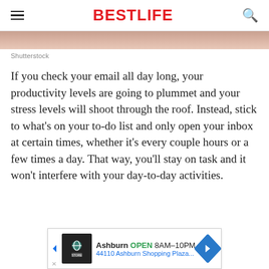BESTLIFE
[Figure (photo): Partial photo strip showing a person's hand or body, cropped at the top of the content area]
Shutterstock
If you check your email all day long, your productivity levels are going to plummet and your stress levels will shoot through the roof. Instead, stick to what's on your to-do list and only open your inbox at certain times, whether it's every couple hours or a few times a day. That way, you'll stay on task and it won't interfere with your day-to-day activities.
[Figure (other): Advertisement banner: Ashburn OPEN 8AM-10PM, 44110 Ashburn Shopping Plaza...]